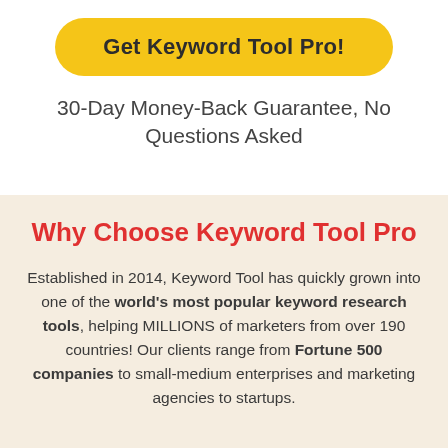Get Keyword Tool Pro!
30-Day Money-Back Guarantee, No Questions Asked
Why Choose Keyword Tool Pro
Established in 2014, Keyword Tool has quickly grown into one of the world's most popular keyword research tools, helping MILLIONS of marketers from over 190 countries! Our clients range from Fortune 500 companies to small-medium enterprises and marketing agencies to startups.